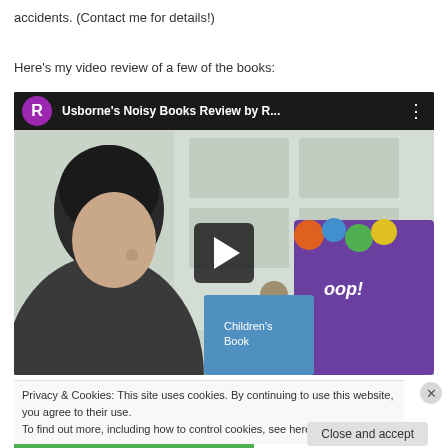accidents.  (Contact me for details!)
Here's my video review of a few of the books:
[Figure (screenshot): Embedded YouTube video thumbnail showing a woman holding a children's book (Usborne Noisy Books). The video header shows a purple avatar with letter R and the title 'Usborne's Noisy Books Review by R...' with a play button overlay in the center of the thumbnail.]
Privacy & Cookies: This site uses cookies. By continuing to use this website, you agree to their use.
To find out more, including how to control cookies, see here: Cookie Policy
Close and accept